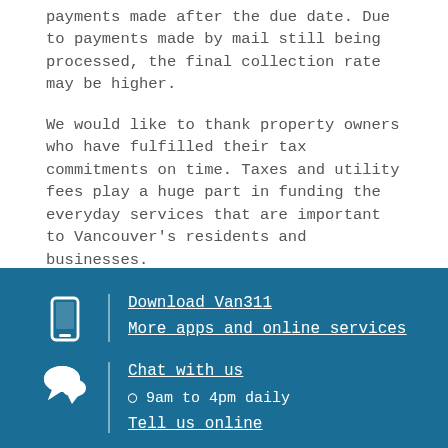payments made after the due date. Due to payments made by mail still being processed, the final collection rate may be higher.
We would like to thank property owners who have fulfilled their tax commitments on time. Taxes and utility fees play a huge part in funding the everyday services that are important to Vancouver's residents and businesses.
Download Van311
More apps and online services
Chat with us
⊙ 9am to 4pm daily
Tell us online